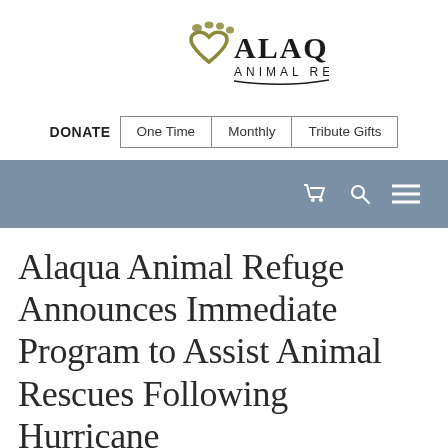[Figure (logo): Alaqua Animal Refuge logo with paw print and heart icon in olive/gold color, organization name in large serif text]
DONATE | One Time | Monthly | Tribute Gifts
[Figure (other): Blue-gray navigation bar with shopping cart, search, and hamburger menu icons]
Alaqua Animal Refuge Announces Immediate Program to Assist Animal Rescues Following Hurricane